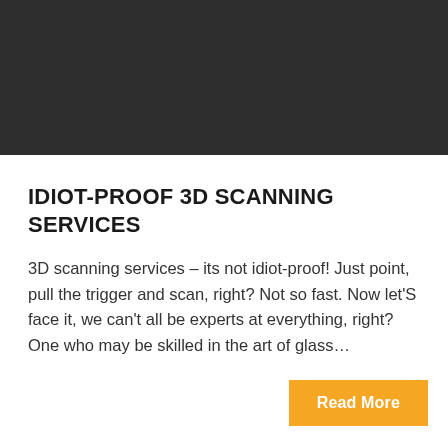[Figure (photo): Dark gray/charcoal banner image area at the top of the page]
IDIOT-PROOF 3D SCANNING SERVICES
3D scanning services – its not idiot-proof! Just point, pull the trigger and scan, right? Not so fast. Now let'S face it, we can't all be experts at everything, right? One who may be skilled in the art of glass…
Read More